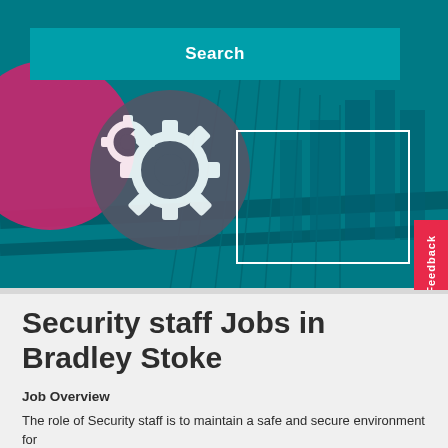[Figure (photo): Hero banner image showing a city bridge with teal/cyan color overlay, decorative pink and gray circles, white gear icons, a white rectangle outline, and a teal search bar at the top with 'Search' text. A red feedback tab is visible on the right edge.]
Security staff Jobs in Bradley Stoke
Job Overview
The role of Security staff is to maintain a safe and secure environment for